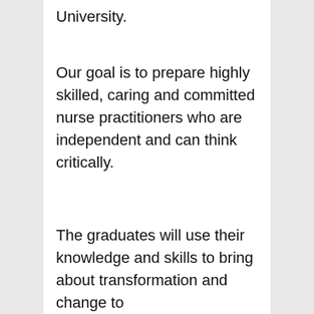University.
Our goal is to prepare highly skilled, caring and committed nurse practitioners who are independent and can think critically.
The graduates will use their knowledge and skills to bring about transformation and change to